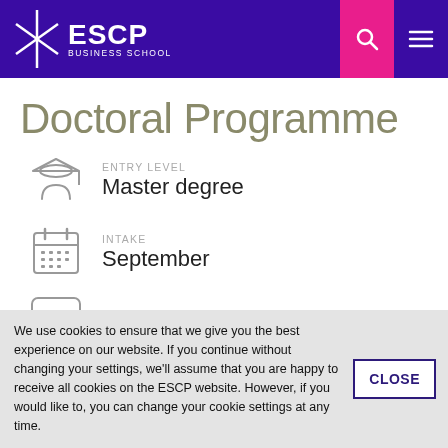[Figure (logo): ESCP Business School logo with star/asterisk icon on dark purple navigation header with pink search button and hamburger menu]
Doctoral Programme
ENTRY LEVEL: Master degree
INTAKE: September
LANGUAGES OF INSTRUCTION
We use cookies to ensure that we give you the best experience on our website. If you continue without changing your settings, we'll assume that you are happy to receive all cookies on the ESCP website. However, if you would like to, you can change your cookie settings at any time.